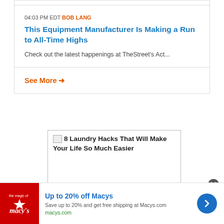04:03 PM EDT BOB LANG
This Equipment Manufacturer Is Making a Run to All-Time Highs
Check out the latest happenings at TheStreet's Act...
See More →
[Figure (other): Broken image placeholder with text: 8 Laundry Hacks That Will Make Your Life So Much Easier]
[Figure (other): Bottom advertisement banner: Up to 20% off Macys - Save up to 20% and get free shipping at Macys.com - macys.com]